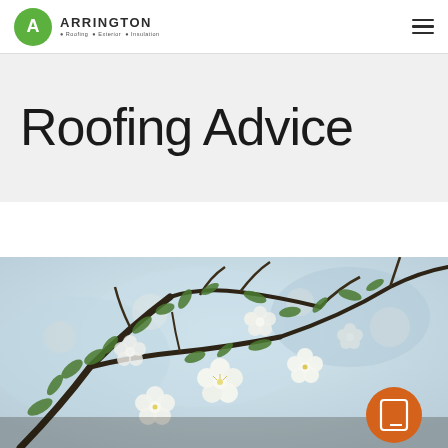ARRINGTON
Roofing Advice
[Figure (photo): Blooming white flowers on tree branches with green leaves, blurred background, spring blossom photo. Orange circular icon button with tablet/book symbol in bottom right corner.]